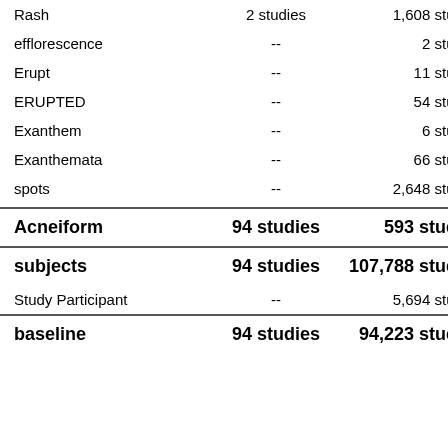| Term | Col2 | Col3 |
| --- | --- | --- |
| Rash | 2 studies | 1,608 studies |
| efflorescence | -- | 2 studies |
| Erupt | -- | 11 studies |
| ERUPTED | -- | 54 studies |
| Exanthem | -- | 6 studies |
| Exanthemata | -- | 66 studies |
| spots | -- | 2,648 studies |
| Acneiform | 94 studies | 593 studies |
| subjects | 94 studies | 107,788 studies |
| Study Participant | -- | 5,694 studies |
| baseline | 94 studies | 94,223 studies |